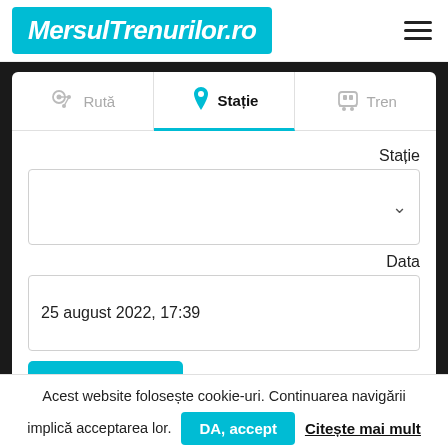MersulTrenurilor.ro
Rută
Stație
Tren
Stație
Data
25 august 2022, 17:39
Acest website folosește cookie-uri. Continuarea navigării implică acceptarea lor. DA, accept Citește mai mult